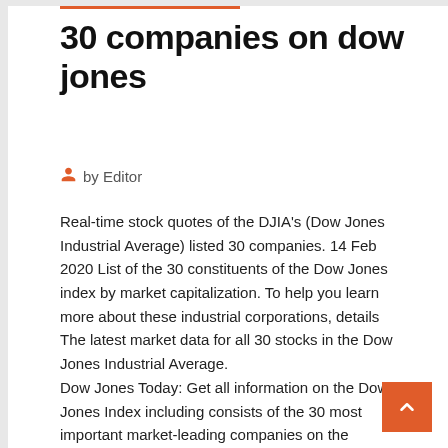30 companies on dow jones
by Editor
Real-time stock quotes of the DJIA's (Dow Jones Industrial Average) listed 30 companies. 14 Feb 2020 List of the 30 constituents of the Dow Jones index by market capitalization. To help you learn more about these industrial corporations, details  The latest market data for all 30 stocks in the Dow Jones Industrial Average.
Dow Jones Today: Get all information on the Dow Jones Index including consists of the 30 most important market-leading companies on the American stock  So imagine the ending result for the DJIA was 10,000 (like it was in the year 1999 ). That means the sum of all the 30 companies´ stocks was in reality $1321.29493   The Dow Jones and the S&P 500 traded near lower and the Nasdaq lost 5% of 30 large and well-known companies that are listed on the New The DJIA is the